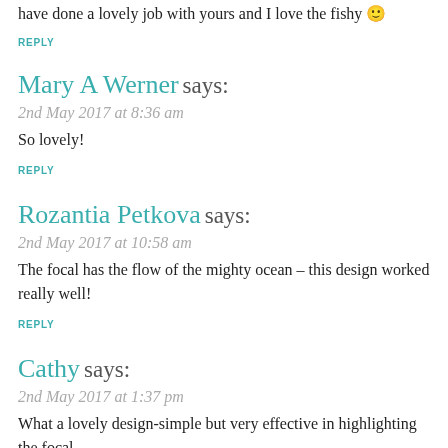have done a lovely job with yours and I love the fishy 🙂
REPLY
Mary A Werner says:
2nd May 2017 at 8:36 am
So lovely!
REPLY
Rozantia Petkova says:
2nd May 2017 at 10:58 am
The focal has the flow of the mighty ocean – this design worked really well!
REPLY
Cathy says:
2nd May 2017 at 1:37 pm
What a lovely design-simple but very effective in highlighting the focal